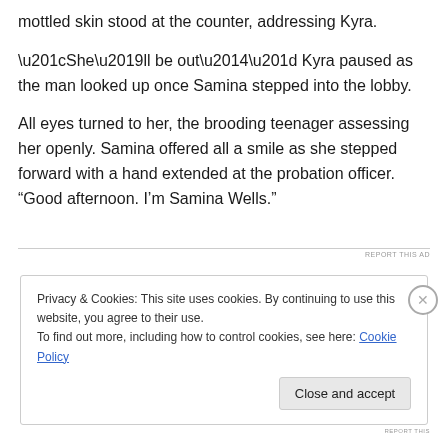mottled skin stood at the counter, addressing Kyra.
“She’ll be out—” Kyra paused as the man looked up once Samina stepped into the lobby.
All eyes turned to her, the brooding teenager assessing her openly. Samina offered all a smile as she stepped forward with a hand extended at the probation officer. “Good afternoon. I’m Samina Wells.”
REPORT THIS AD
Privacy & Cookies: This site uses cookies. By continuing to use this website, you agree to their use.
To find out more, including how to control cookies, see here: Cookie Policy
Close and accept
REPORT THIS